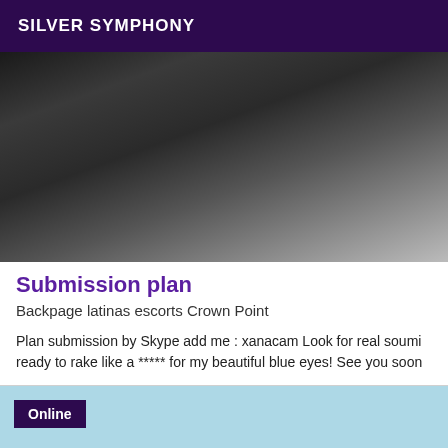SILVER SYMPHONY
[Figure (photo): Black and white photo showing a person's midsection wearing dark underwear, crouching or kneeling position.]
Submission plan
Backpage latinas escorts Crown Point
Plan submission by Skype add me : xanacam Look for real soumi ready to rake like a ***** for my beautiful blue eyes! See you soon
Online